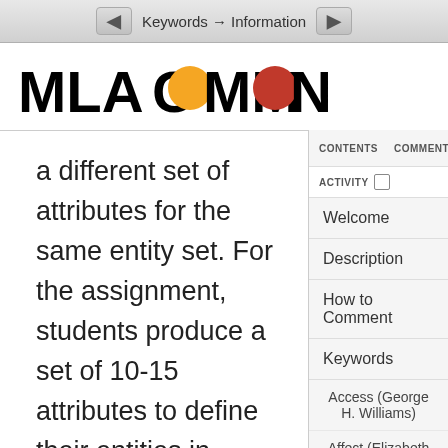Keywords → Information
[Figure (logo): MLA Commons logo with orange and red speech bubble circles replacing the two O letters in COMMONS]
a different set of attributes for the same entity set. For the assignment, students produce a set of 10-15 attributes to define their entities in support of the purpose. They label and
CONTENTS
COMMENTS
ACTIVITY
Welcome
Description
How to Comment
Keywords
Access (George H. Williams)
Affect (Elizabeth Losh)
Annotation (Paul Schacht)
Archive (Lauren